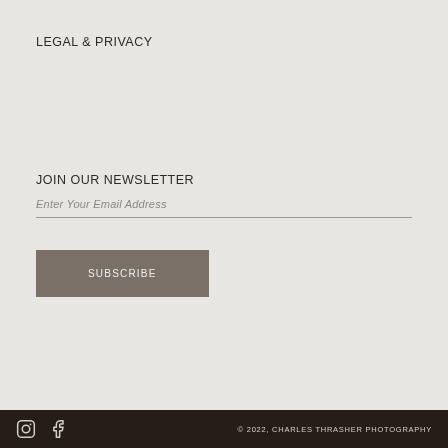LEGAL & PRIVACY
JOIN OUR NEWSLETTER
Enter Your Email Address
SUBSCRIBE
© 2022, CHARLES THRASHER PHOTOGRAPHY